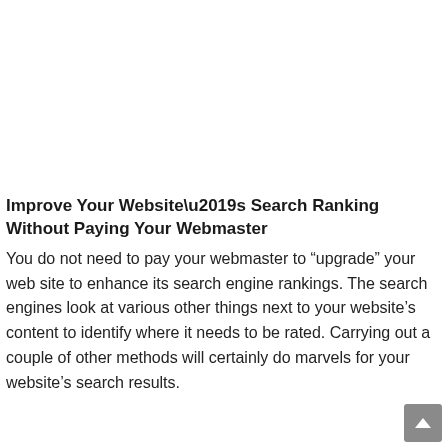Improve Your Website's Search Ranking Without Paying Your Webmaster
You do not need to pay your webmaster to “upgrade” your web site to enhance its search engine rankings. The search engines look at various other things next to your website’s content to identify where it needs to be rated. Carrying out a couple of other methods will certainly do marvels for your website’s search results.